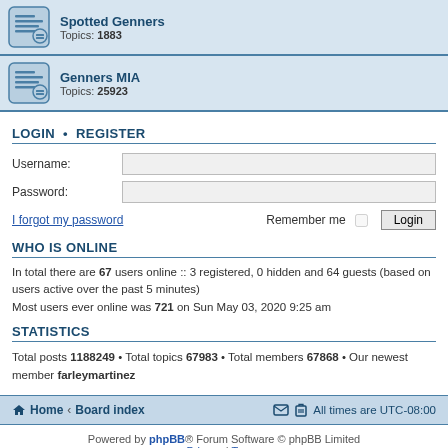Spotted Genners
Topics: 1883
Genners MIA
Topics: 25923
LOGIN • REGISTER
Username:
Password:
I forgot my password
Remember me
WHO IS ONLINE
In total there are 67 users online :: 3 registered, 0 hidden and 64 guests (based on users active over the past 5 minutes)
Most users ever online was 721 on Sun May 03, 2020 9:25 am
STATISTICS
Total posts 1188249 • Total topics 67983 • Total members 67868 • Our newest member farleymartinez
Home · Board index    All times are UTC-08:00
Powered by phpBB® Forum Software © phpBB Limited
Privacy | Terms